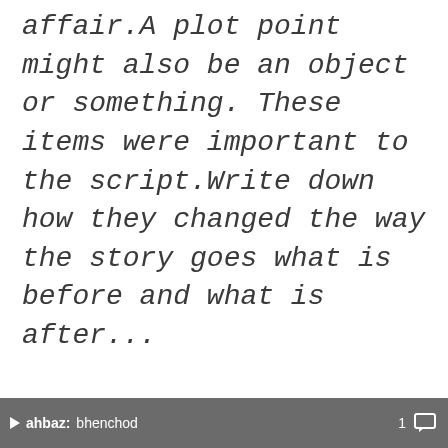affair.A plot point might also be an object or something. These items were important to the script.Write down how they changed the way the story goes what is before and what is after...
ahbaz: bhenchod   1